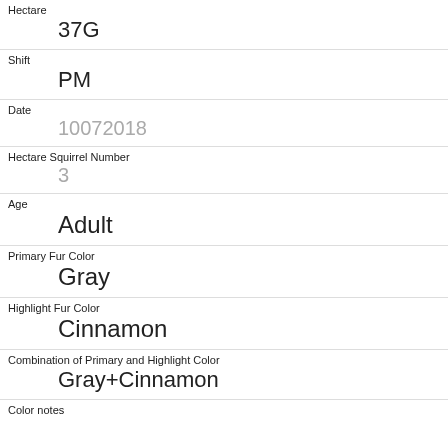Hectare
37G
Shift
PM
Date
10072018
Hectare Squirrel Number
3
Age
Adult
Primary Fur Color
Gray
Highlight Fur Color
Cinnamon
Combination of Primary and Highlight Color
Gray+Cinnamon
Color notes
Location
Above Ground
Above Ground Sighter Measurement